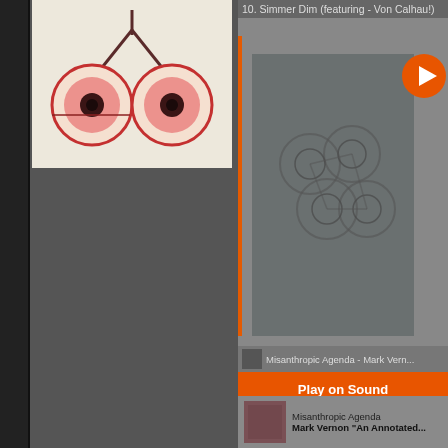[Figure (photo): Artwork showing stylized red eyeballs on dark stems against a light beige background]
10. Simmer Dim (featuring - Von Calhau!)
[Figure (photo): Album cover art - dark gray background with abstract circular interconnected shapes]
[Figure (logo): Orange circular play button icon]
Misanthropic Agenda - Mark Vern...
Play on Sound
Listen in brow...
[Figure (photo): Small dark reddish-brown album thumbnail]
Misanthropic Agenda
Mark Vernon "An Annotated...